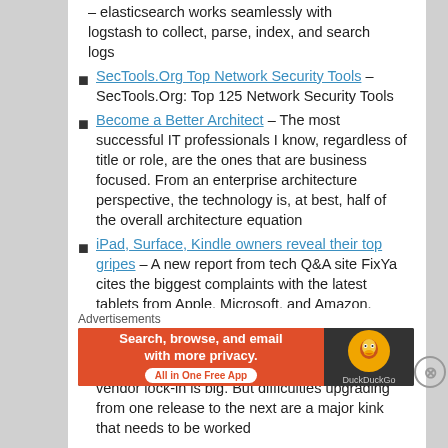– elasticsearch works seamlessly with logstash to collect, parse, index, and search logs
SecTools.Org Top Network Security Tools – SecTools.Org: Top 125 Network Security Tools
Become a Better Architect – The most successful IT professionals I know, regardless of title or role, are the ones that are business focused. From an enterprise architecture perspective, the technology is, at best, half of the overall architecture equation
iPad, Surface, Kindle owners reveal their top gripes – A new report from tech Q&A site FixYa cites the biggest complaints with the latest tablets from Apple, Microsoft, and Amazon.
"Backbreaking" OpenStack migrations hinder enterprise upgrades – OpenStack's promise of an open-source cloud infrastructure free of vendor lock-in is big. But difficulties upgrading from one release to the next are a major kink that needs to be worked
Advertisements
[Figure (infographic): DuckDuckGo advertisement banner: orange left section with text 'Search, browse, and email with more privacy. All in One Free App' and dark right section with DuckDuckGo logo]